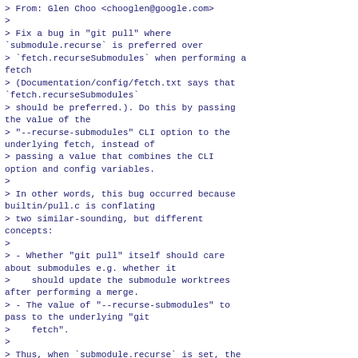> From: Glen Choo <chooglen@google.com>
>
> Fix a bug in "git pull" where
`submodule.recurse` is preferred over
> `fetch.recurseSubmodules` when performing a fetch
> (Documentation/config/fetch.txt says that
`fetch.recurseSubmodules`
> should be preferred.). Do this by passing the value of the
> "--recurse-submodules" CLI option to the underlying fetch, instead of
> passing a value that combines the CLI option and config variables.
>
> In other words, this bug occurred because builtin/pull.c is conflating
> two similar-sounding, but different concepts:
>
> - Whether "git pull" itself should care about submodules e.g. whether it
>    should update the submodule worktrees after performing a merge.
> - The value of "--recurse-submodules" to pass to the underlying "git
>    fetch".
>
> Thus, when `submodule.recurse` is set, the underlying "git fetch" gets
> invoked with "--recurse...